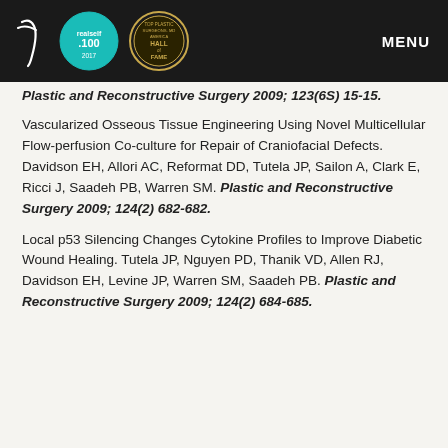Navigation bar with logos: T (cursive), realself.100, John J Hall Jr MD Hall of Fame badge, MENU
Plastic and Reconstructive Surgery 2009; 123(6S) 15-15.
Vascularized Osseous Tissue Engineering Using Novel Multicellular Flow-perfusion Co-culture for Repair of Craniofacial Defects. Davidson EH, Allori AC, Reformat DD, Tutela JP, Sailon A, Clark E, Ricci J, Saadeh PB, Warren SM. Plastic and Reconstructive Surgery 2009; 124(2) 682-682.
Local p53 Silencing Changes Cytokine Profiles to Improve Diabetic Wound Healing. Tutela JP, Nguyen PD, Thanik VD, Allen RJ, Davidson EH, Levine JP, Warren SM, Saadeh PB. Plastic and Reconstructive Surgery 2009; 124(2) 684-685.